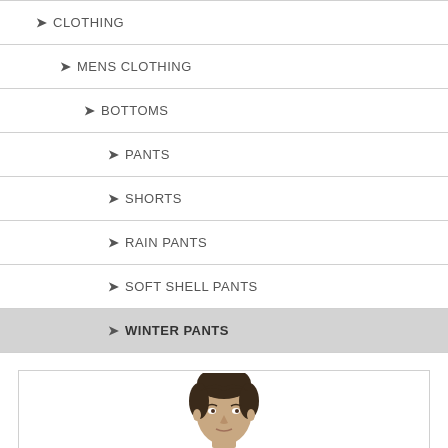CLOTHING
MENS CLOTHING
BOTTOMS
PANTS
SHORTS
RAIN PANTS
SOFT SHELL PANTS
WINTER PANTS
[Figure (photo): Partial photo of a man's head/face at the bottom of the page]